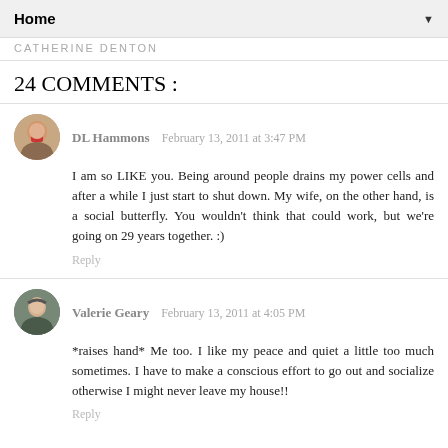Home ▼
CATHERINE DENTON
24 COMMENTS :
DL Hammons  February 13, 2011 at 3:47 PM
I am so LIKE you. Being around people drains my power cells and after a while I just start to shut down. My wife, on the other hand, is a social butterfly. You wouldn't think that could work, but we're going on 29 years together. :)
Reply
Valerie Geary  February 13, 2011 at 4:05 PM
*raises hand* Me too. I like my peace and quiet a little too much sometimes. I have to make a conscious effort to go out and socialize otherwise I might never leave my house!!
Reply